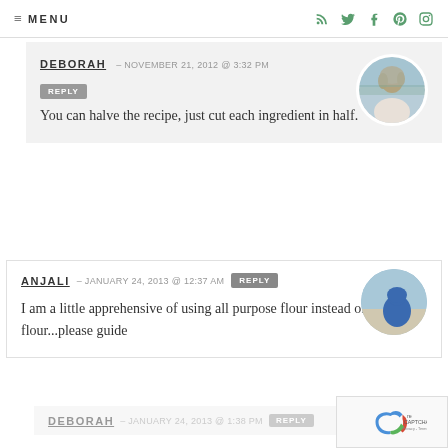≡ MENU
DEBORAH – NOVEMBER 21, 2012 @ 3:32 PM   REPLY
You can halve the recipe, just cut each ingredient in half.
ANJALI – JANUARY 24, 2013 @ 12:37 AM   REPLY
I am a little apprehensive of using all purpose flour instead of bread flour...please guide
DEBORAH – JANUARY 24, 2013 @ 1:38 PM   REPLY